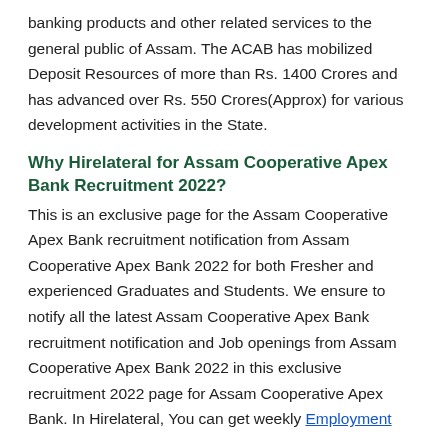banking products and other related services to the general public of Assam. The ACAB has mobilized Deposit Resources of more than Rs. 1400 Crores and has advanced over Rs. 550 Crores(Approx) for various development activities in the State.
Why Hirelateral for Assam Cooperative Apex Bank Recruitment 2022?
This is an exclusive page for the Assam Cooperative Apex Bank recruitment notification from Assam Cooperative Apex Bank 2022 for both Fresher and experienced Graduates and Students. We ensure to notify all the latest Assam Cooperative Apex Bank recruitment notification and Job openings from Assam Cooperative Apex Bank 2022 in this exclusive recruitment 2022 page for Assam Cooperative Apex Bank. In Hirelateral, You can get weekly Employment